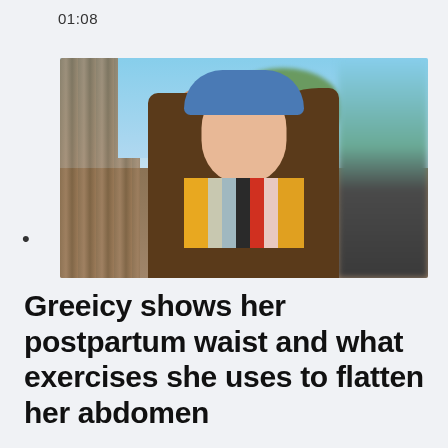01:08
[Figure (photo): Woman with long brown hair wearing a blue visor/cap and a multicolored striped bikini top, standing outdoors near wooden slats with greenery and sky in background.]
Greeicy shows her postpartum waist and what exercises she uses to flatten her abdomen